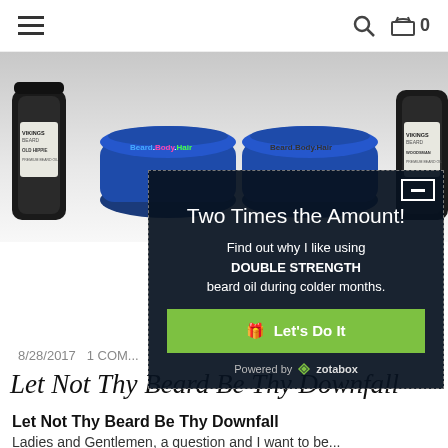≡   🔍  🛒 0
[Figure (photo): Row of beard oil bottles and blue jars with 'Beard.Body.Hair' labels on a light background. Products include 'Old Hippie Premium Beard Oil' and 'Woodsman Premium Beard Oil'.]
[Figure (infographic): Dark popup overlay with dashed border. Title: 'Two Times the Amount!'. Body: 'Find out why I like using DOUBLE STRENGTH beard oil during colder months.' Green button: '🎁 Let’s Do It'. Footer: 'Powered by zotabox'.]
8/28/2017   1 COM...
Let Not Thy Beard Be Thy Downfall
Let Not Thy Beard Be Thy Downfall
Ladies and Gentlemen, a question and I want to be...